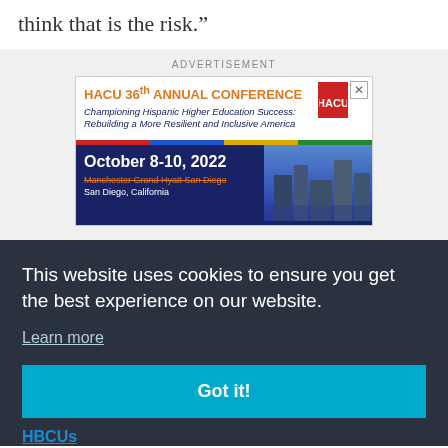think that is the risk.”
[Figure (other): HACU 36th Annual Conference advertisement. Championing Hispanic Higher Education Success: Rebuilding a More Resilient and Inclusive America. October 8-10, 2022. Manchester Grand Hyatt San Diego, San Diego, California.]
This website uses cookies to ensure you get the best experience on our website.
Learn more
Got it!
HBCUs